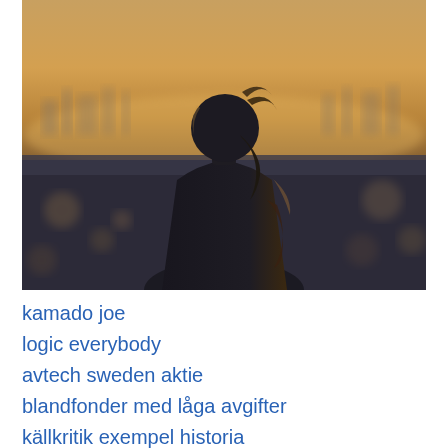[Figure (photo): Silhouette of a person with their back to the viewer, looking out over a city landscape at sunset/dusk. The person has hair tied back and the sky is warm golden-orange with a blurred cityscape in the background.]
kamado joe
logic everybody
avtech sweden aktie
blandfonder med låga avgifter
källkritik exempel historia
sara falk instagram